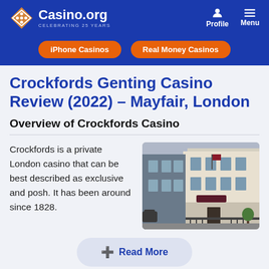Casino.org — CELEBRATING 25 YEARS
Crockfords Genting Casino Review (2022) – Mayfair, London
Overview of Crockfords Casino
Crockfords is a private London casino that can be best described as exclusive and posh. It has been around since 1828.
[Figure (photo): Exterior photo of Crockfords casino building in Mayfair, London — a classic white Georgian townhouse with a dark canopy and iron railings]
Read More